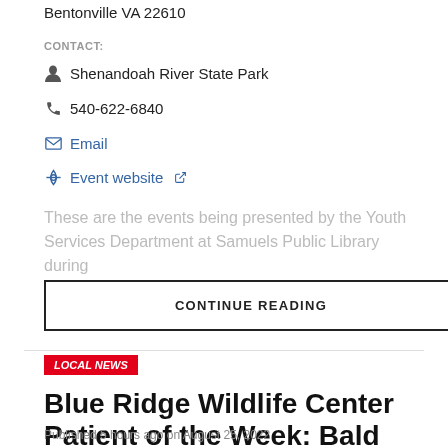Bentonville VA 22610
CONTACT:
Shenandoah River State Park
540-622-6840
Email
Event website
These are the events being presented by the Youth Services Department at Samuels Public Library during
CONTINUE READING
LOCAL NEWS
Blue Ridge Wildlife Center Patient of the Week: Bald Eagle
Published 5 hours ago on August 25, 2022